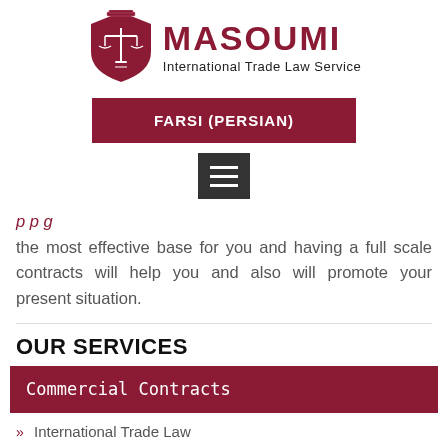[Figure (logo): Masoumi International Trade Law Service logo with shield/scales icon]
FARSI (PERSIAN)
[Figure (other): Hamburger menu icon (three horizontal white lines on dark background)]
the most effective base for you and having a full scale contracts will help you and also will promote your present situation.
OUR SERVICES
Commercial Contracts
» International Trade Law